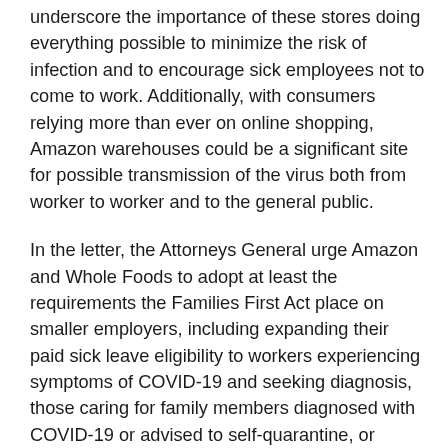underscore the importance of these stores doing everything possible to minimize the risk of infection and to encourage sick employees not to come to work. Additionally, with consumers relying more than ever on online shopping, Amazon warehouses could be a significant site for possible transmission of the virus both from worker to worker and to the general public.
In the letter, the Attorneys General urge Amazon and Whole Foods to adopt at least the requirements the Families First Act place on smaller employers, including expanding their paid sick leave eligibility to workers experiencing symptoms of COVID-19 and seeking diagnosis, those caring for family members diagnosed with COVID-19 or advised to self-quarantine, or caring for children whose schools have closed due to COVID-19 concerns. Additionally, they encourage the companies to provide up to 12 weeks of leave at two-thirds of their regular pay for workers who must stay at home to care for